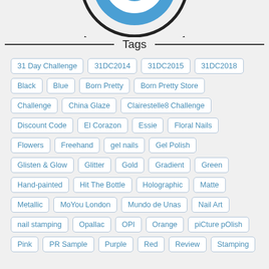[Figure (logo): Circular logo with blue eye/target design, black border, partially cropped at top]
Tags
31 Day Challenge
31DC2014
31DC2015
31DC2018
Black
Blue
Born Pretty
Born Pretty Store
Challenge
China Glaze
Clairestelle8 Challenge
Discount Code
El Corazon
Essie
Floral Nails
Flowers
Freehand
gel nails
Gel Polish
Glisten & Glow
Glitter
Gold
Gradient
Green
Hand-painted
Hit The Bottle
Holographic
Matte
Metallic
MoYou London
Mundo de Unas
Nail Art
nail stamping
Opallac
OPI
Orange
piCture pOlish
Pink
PR Sample
Purple
Red
Review
Stamping